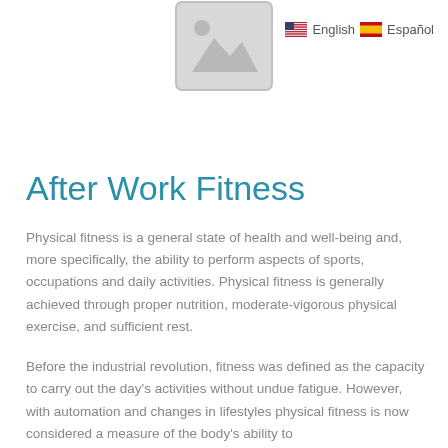[Figure (illustration): Grey placeholder image thumbnail with mountain/landscape icon in the upper center of the page]
🇺🇸 English  🇪🇸 Español
After Work Fitness
Physical fitness is a general state of health and well-being and, more specifically, the ability to perform aspects of sports, occupations and daily activities. Physical fitness is generally achieved through proper nutrition, moderate-vigorous physical exercise, and sufficient rest.
Before the industrial revolution, fitness was defined as the capacity to carry out the day's activities without undue fatigue. However, with automation and changes in lifestyles physical fitness is now considered a measure of the body's ability to